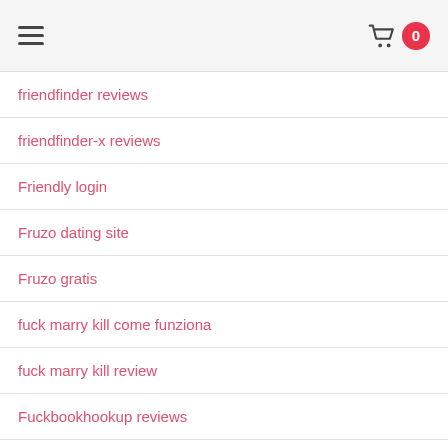hamburger menu | cart 0
friendfinder reviews
friendfinder-x reviews
Friendly login
Fruzo dating site
Fruzo gratis
fuck marry kill come funziona
fuck marry kill review
Fuckbookhookup reviews
Game Of Moans sign in
Gay Guys Live XXX Videos
Gay Guys Real Sex Cam